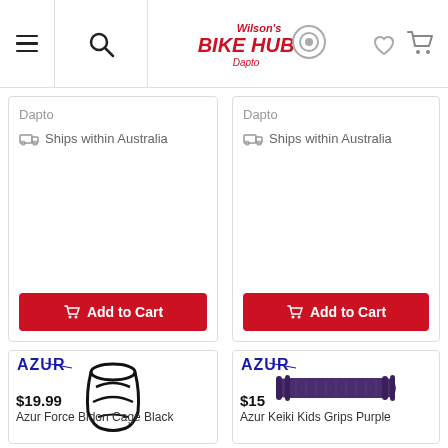Wilson's Bike Hub Dapto
Dapto
Ships within Australia
Dapto
Ships within Australia
Add to Cart
Add to Cart
[Figure (photo): Azur Force Bidon Cage Black - black carbon-style water bottle cage for bikes, with Azur logo and Azur Performance branding]
[Figure (photo): Azur Keiki Kids Grips Purple - purple rubber handlebar grips, with Azur logo and Azur Performance branding]
$19.99
Azur Force Bidon Cage Black
$15
Azur Keiki Kids Grips Purple